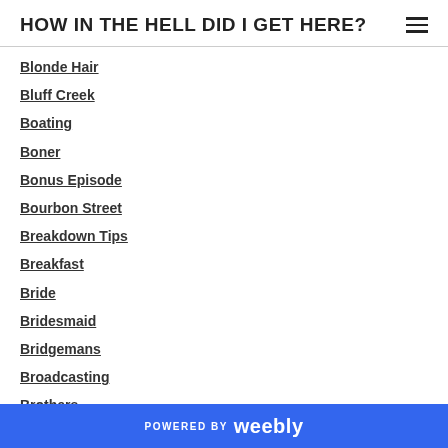HOW IN THE HELL DID I GET HERE?
Blonde Hair
Bluff Creek
Boating
Boner
Bonus Episode
Bourbon Street
Breakdown Tips
Breakfast
Bride
Bridesmaid
Bridgemans
Broadcasting
Brothers
Bubble Avalanche
POWERED BY weebly